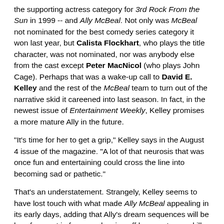the supporting actress category for 3rd Rock From the Sun in 1999 -- and Ally McBeal. Not only was McBeal not nominated for the best comedy series category it won last year, but Calista Flockhart, who plays the title character, was not nominated, nor was anybody else from the cast except Peter MacNicol (who plays John Cage). Perhaps that was a wake-up call to David E. Kelley and the rest of the McBeal team to turn out of the narrative skid it careened into last season. In fact, in the newest issue of Entertainment Weekly, Kelley promises a more mature Ally in the future.
"It's time for her to get a grip," Kelley says in the August 4 issue of the magazine. "A lot of that neurosis that was once fun and entertaining could cross the line into becoming sad or pathetic."
That's an understatement. Strangely, Kelley seems to have lost touch with what made Ally McBeal appealing in its early days, adding that Ally's dream sequences will be less frequent in favor or showing off her courtroom skills. However, the real antidote to Ally's wacky ways appears to be love interest Brian Selig, played by Tim Dutton, and a "life-changing turning point in the season premiere."
But enough about Ally McBeal. If David E. wants my advice, he can have his people call my people. Onward to the Emmy and Clare's Choice nominations.